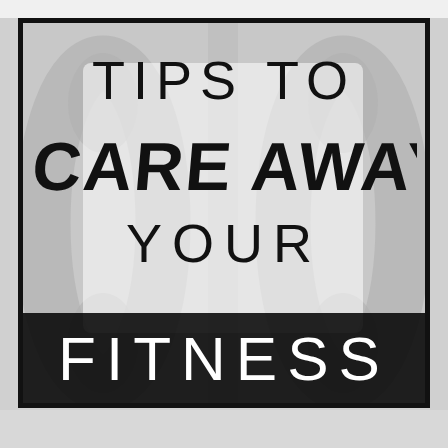[Figure (illustration): Motivational fitness infographic with text 'TIPS TO SCARE AWAY YOUR FITNESS' on a gray background with blurred gym equipment silhouettes. The text 'TIPS TO' and 'YOUR' are in thin sans-serif, 'SCARE AWAY' is in bold brush-style font, and 'FITNESS' appears in white on a black band at the bottom.]